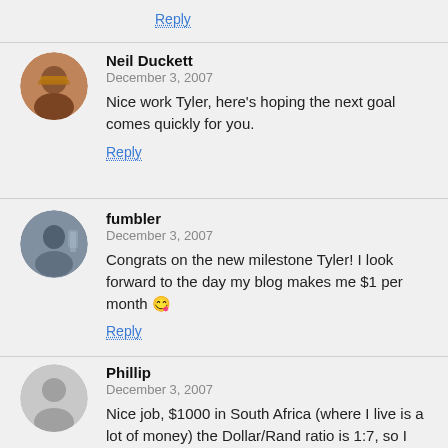Reply
Neil Duckett
December 3, 2007
Nice work Tyler, here's hoping the next goal comes quickly for you.
Reply
fumbler
December 3, 2007
Congrats on the new milestone Tyler! I look forward to the day my blog makes me $1 per month 😉
Reply
Phillip
December 3, 2007
Nice job, $1000 in South Africa (where I live is a lot of money) the Dollar/Rand ratio is 1:7, so I can do with that! 🙂